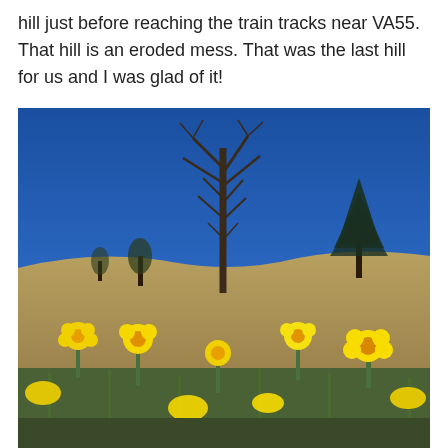hill just before reaching the train tracks near VA55. That hill is an eroded mess. That was the last hill for us and I was glad of it!
[Figure (photo): Outdoor spring photo showing bright yellow daffodil flowers in the foreground, a grassy hill in the middle ground, a bare deciduous tree in the center, another evergreen tree to the right, and a vivid deep blue sky background.]